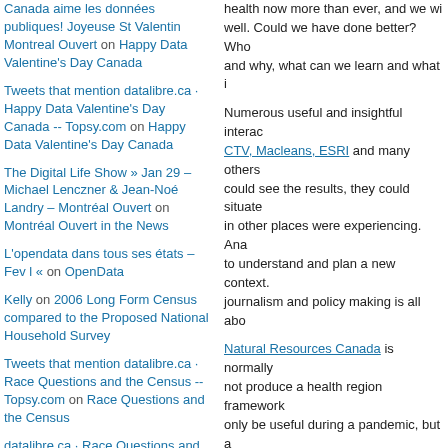Veronica on Girl Geek Dinner
Canada aime les données publiques! Joyeuse St Valentin Montreal Ouvert on Happy Data Valentine's Day Canada
Tweets that mention datalibre.ca · Happy Data Valentine's Day Canada -- Topsy.com on Happy Data Valentine's Day Canada
The Digital Life Show » Jan 29 – Michael Lenczner & Jean-Noé Landry – Montréal Ouvert on Montréal Ouvert in the News
L'opendata dans tous ses états – Fev l « on OpenData
Kelly on 2006 Long Form Census compared to the Proposed National Household Survey
Tweets that mention datalibre.ca · Race Questions and the Census -- Topsy.com on Race Questions and the Census
datalibre.ca · Race Questions and the Census « Harrington Fundraising on Race Questions and the Census
Get Political Fund » Blog Archive » datalibre.ca · Race Questions and the Census on Race Questions and the Census
health now more than ever, and we will well. Could we have done better? Who and why, what can we learn and what i
Numerous useful and insightful interac CTV, Macleans, ESRI and many others could see the results, they could situate in other places were experiencing. Ana to understand and plan a new context. journalism and policy making is all abo
Natural Resources Canada is normally not produce a health region framework only be useful during a pandemic, but a with natural resources such as allergies farming, or health after a natural disast be useful to see where money is spent to advocate for change.
So why no national heath reporting by health region framework dataset?
National Health Reporting Canada:
Virihealth.com and ESRI Canada pro reporting:
In March 2020, an anonymous indiv